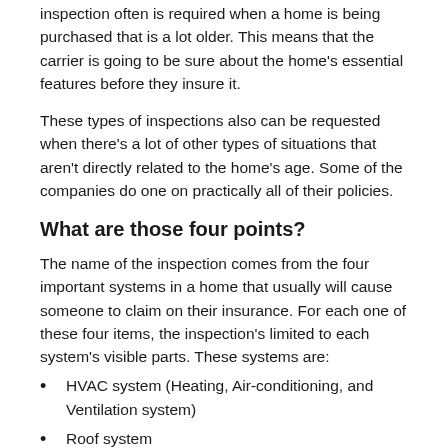inspection often is required when a home is being purchased that is a lot older. This means that the carrier is going to be sure about the home's essential features before they insure it.
These types of inspections also can be requested when there's a lot of other types of situations that aren't directly related to the home's age. Some of the companies do one on practically all of their policies.
What are those four points?
The name of the inspection comes from the four important systems in a home that usually will cause someone to claim on their insurance. For each one of these four items, the inspection's limited to each system's visible parts. These systems are:
HVAC system (Heating, Air-conditioning, and Ventilation system)
Roof system
Plumbing system
Electrical system